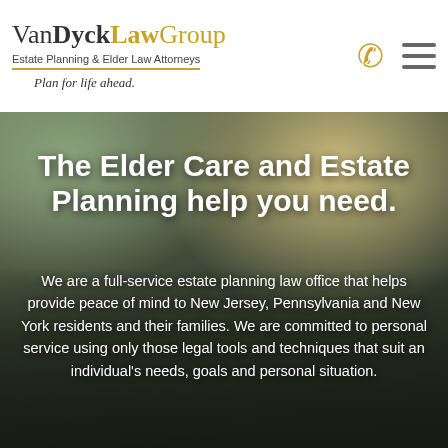VanDyck Law Group — Estate Planning & Elder Law Attorneys — Plan for life ahead.
[Figure (photo): Two men smiling outdoors in a park-like setting with autumn trees in the background, overlaid with dark semi-transparent gradient.]
The Elder Care and Estate Planning help you need.
We are a full-service estate planning law office that helps provide peace of mind to New Jersey, Pennsylvania and New York residents and their families. We are committed to personal service using only those legal tools and techniques that suit an individual's needs, goals and personal situation.